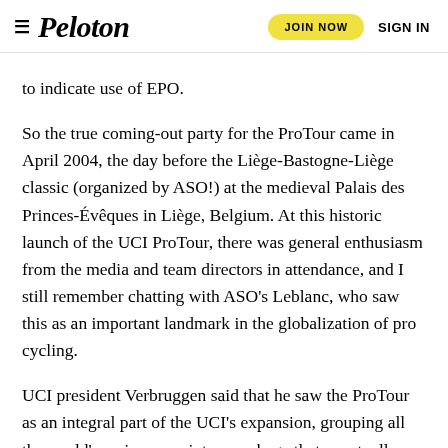Peloton | JOIN NOW | SIGN IN
to indicate use of EPO.
So the true coming-out party for the ProTour came in April 2004, the day before the Liège-Bastogne-Liège classic (organized by ASO!) at the medieval Palais des Princes-Évêques in Liège, Belgium. At this historic launch of the UCI ProTour, there was general enthusiasm from the media and team directors in attendance, and I still remember chatting with ASO's Leblanc, who saw this as an important landmark in the globalization of pro cycling.
UCI president Verbruggen said that he saw the ProTour as an integral part of the UCI's expansion, grouping all the world's major races into a package that eventually could be sold to the highest-bidding television networks—much like the IOC sells